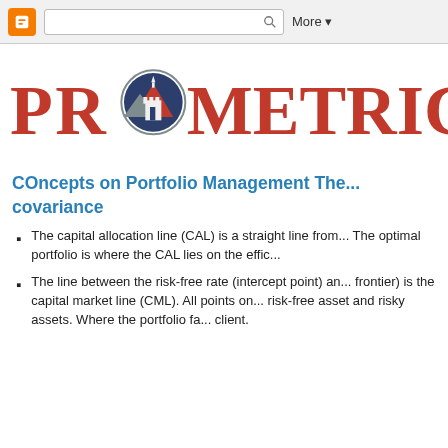Blogger | Search | More ▾
[Figure (logo): PROMETRICO logo with red serif text and circular castle emblem in the O]
COncepts on Portfolio Management The... covariance
The capital allocation line (CAL) is a straight line from... The optimal portfolio is where the CAL lies on the effic...
The line between the risk-free rate (intercept point) an... frontier) is the capital market line (CML). All points on... risk-free asset and risky assets. Where the portfolio fa... client.